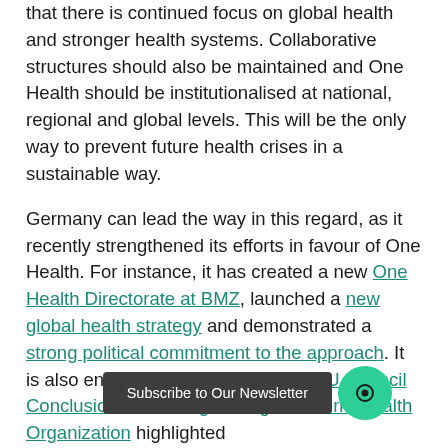that there is continued focus on global health and stronger health systems. Collaborative structures should also be maintained and One Health should be institutionalised at national, regional and global levels. This will be the only way to prevent future health crises in a sustainable way.
Germany can lead the way in this regard, as it recently strengthened its efforts in favour of One Health. For instance, it has created a new One Health Directorate at BMZ, launched a new global health strategy and demonstrated a strong political commitment to the approach. It is also encouraging that the recent EU Council Conclusions on strengthening the World Health Organization highlighted